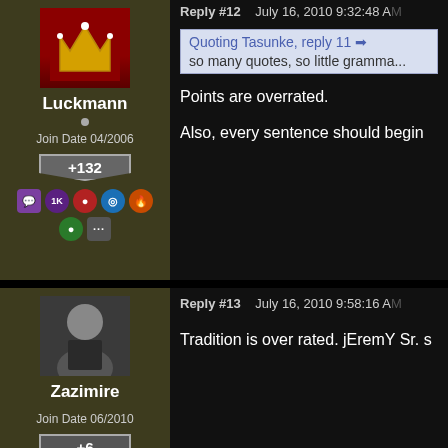Reply #12   July 16, 2010 9:32:48 AM
Quoting Tasunke, reply 11
so many quotes, so little gramma...
Points are overrated.
Also, every sentence should begin
Luckmann
Join Date 04/2006
+132
Reply #13   July 16, 2010 9:58:16 AM
Tradition is over rated. jEremY Sr. s
Zazimire
Join Date 06/2010
+6